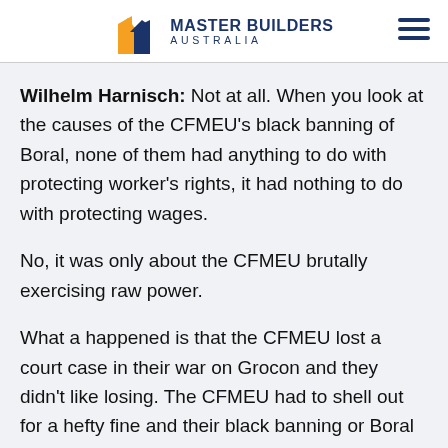Master Builders Australia
Wilhelm Harnisch: Not at all. When you look at the causes of the CFMEU's black banning of Boral, none of them had anything to do with protecting worker's rights, it had nothing to do with protecting wages.
No, it was only about the CFMEU brutally exercising raw power.
What a happened is that the CFMEU lost a court case in their war on Grocon and they didn't like losing. The CFMEU had to shell out for a hefty fine and their black banning or Boral was payback.